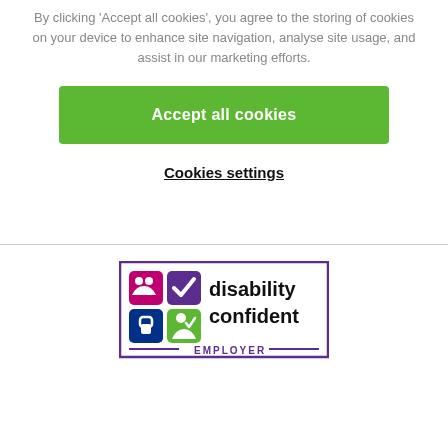By clicking 'Accept all cookies', you agree to the storing of cookies on your device to enhance site navigation, analyse site usage, and assist in our marketing efforts.
Accept all cookies
Cookies settings
[Figure (logo): Disability Confident Employer logo with coloured icon squares and purple border]